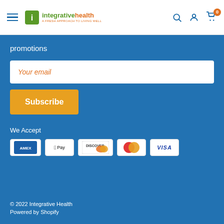Integrative Health — navigation header with logo, hamburger menu, search, account, and cart icons
promotions
Your email
Subscribe
We Accept
[Figure (logo): Payment method logos: American Express, Apple Pay, Discover, Mastercard, Visa]
© 2022 Integrative Health
Powered by Shopify